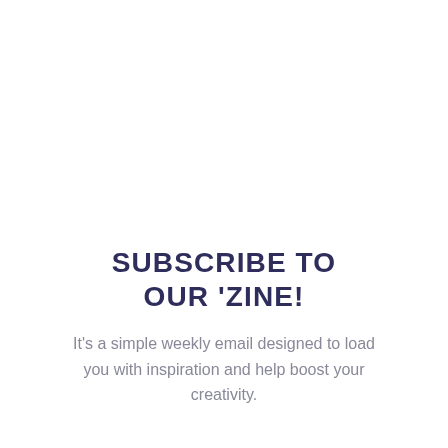SUBSCRIBE TO OUR 'ZINE!
It's a simple weekly email designed to load you with inspiration and help boost your creativity.